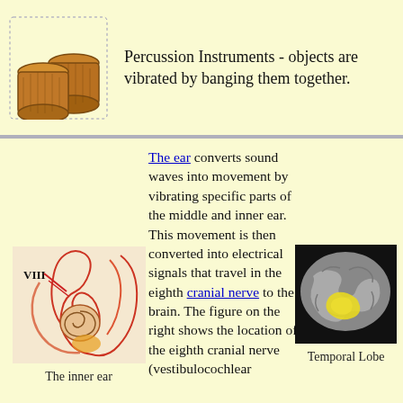[Figure (illustration): Two wooden bongo drums / percussion instruments illustration]
Percussion Instruments - objects are vibrated by banging them together.
[Figure (illustration): Anatomical diagram of the inner ear labeled with VIII (cranial nerve), showing cochlea and internal structures]
The inner ear
The ear converts sound waves into movement by vibrating specific parts of the middle and inner ear. This movement is then converted into electrical signals that travel in the eighth cranial nerve to the brain. The figure on the right shows the location of the eighth cranial nerve (vestibulocochlear
[Figure (illustration): Brain image showing the temporal lobe highlighted in yellow]
Temporal Lobe